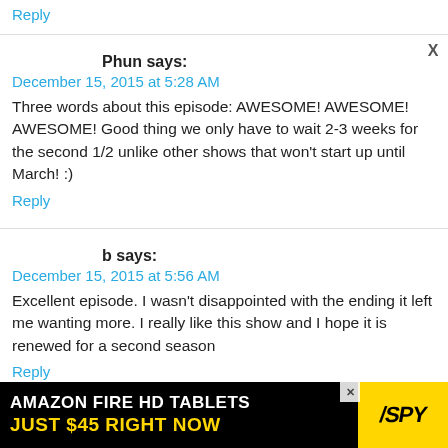Reply
Phun says:
December 15, 2015 at 5:28 AM
Three words about this episode: AWESOME! AWESOME! AWESOME! Good thing we only have to wait 2-3 weeks for the second 1/2 unlike other shows that won't start up until March! :)
Reply
b says:
December 15, 2015 at 5:56 AM
Excellent episode. I wasn't disappointed with the ending it left me wanting more. I really like this show and I hope it is renewed for a second season
Reply
[Figure (infographic): Amazon Fire HD Tablets advertisement banner - black background with yellow text reading 'JUST $45 RIGHT NOW' and yellow SPY logo]